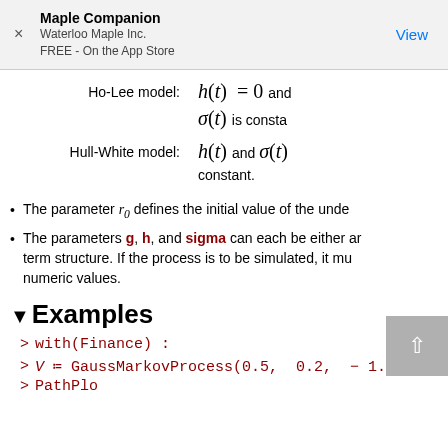Maple Companion
Waterloo Maple Inc.
FREE - On the App Store
Ho-Lee model: h(t) = 0 and σ(t) is constant.
Hull-White model: h(t) and σ(t) are constant.
The parameter r_0 defines the initial value of the underlying...
The parameters g, h, and sigma can each be either an... term structure. If the process is to be simulated, it mu... numeric values.
▼Examples